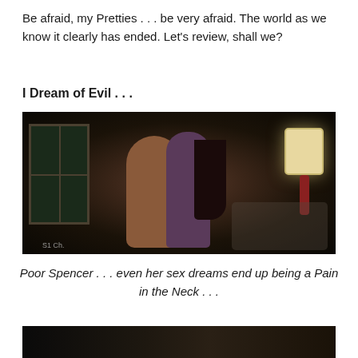Be afraid, my Pretties . . . be very afraid.  The world as we know it clearly has ended.  Let's review, shall we?
I Dream of Evil . . .
[Figure (photo): Dark scene showing two figures embracing and kissing in a dimly lit room with a window on the left and a lamp on the right, with a bed visible in the background.]
Poor Spencer . . . even her sex dreams end up being a Pain in the Neck . . .
[Figure (photo): Dark scene, partially visible at the bottom of the page, showing a dim interior setting.]